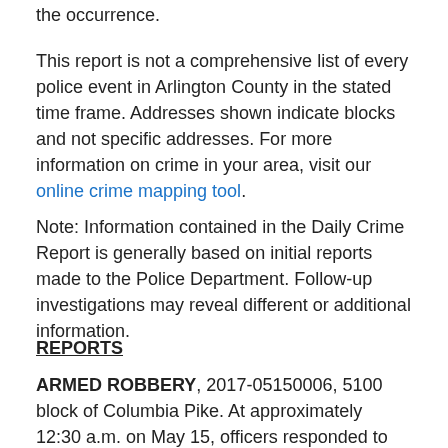the occurrence.
This report is not a comprehensive list of every police event in Arlington County in the stated time frame. Addresses shown indicate blocks and not specific addresses. For more information on crime in your area, visit our online crime mapping tool.
Note: Information contained in the Daily Crime Report is generally based on initial reports made to the Police Department. Follow-up investigations may reveal different or additional information.
REPORTS
ARMED ROBBERY, 2017-05150006, 5100 block of Columbia Pike. At approximately 12:30 a.m. on May 15, officers responded to the report of an armed robbery. Upon arrival, it was determined two unknown male suspects